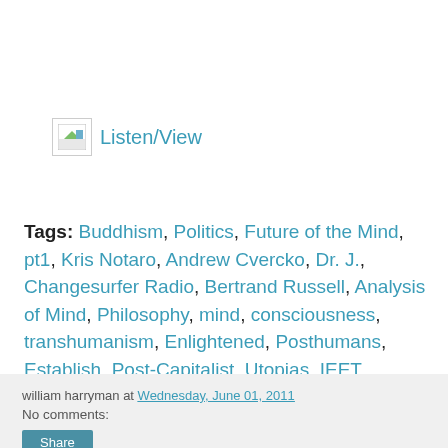[Figure (other): Small image icon placeholder with a landscape thumbnail]
Listen/View
Tags: Buddhism, Politics, Future of the Mind, pt1, Kris Notaro, Andrew Cvercko, Dr. J., Changesurfer Radio, Bertrand Russell, Analysis of Mind, Philosophy, mind, consciousness, transhumanism, Enlightened, Posthumans, Establish, Post-Capitalist, Utopias, IEET
william harryman at Wednesday, June 01, 2011
No comments:
Share